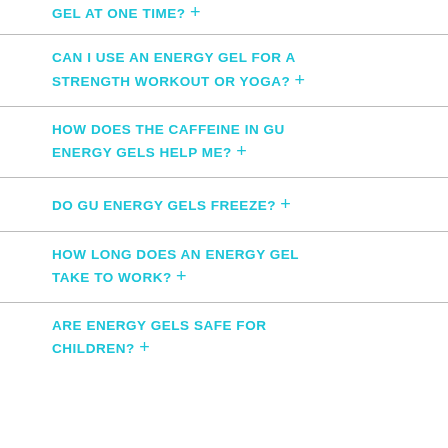GEL AT ONE TIME? +
CAN I USE AN ENERGY GEL FOR A STRENGTH WORKOUT OR YOGA? +
HOW DOES THE CAFFEINE IN GU ENERGY GELS HELP ME? +
DO GU ENERGY GELS FREEZE? +
HOW LONG DOES AN ENERGY GEL TAKE TO WORK? +
ARE ENERGY GELS SAFE FOR CHILDREN? +